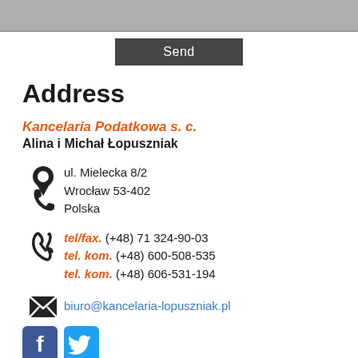[Figure (screenshot): Gray top bar (form input field or header)]
[Figure (screenshot): Dark gray Send button]
Address
Kancelaria Podatkowa s. c.
Alina i Michał Łopuszniak
ul. Mielecka 8/2
Wrocław 53-402
Polska
tel/fax. (+48) 71 324-90-03
tel. kom. (+48) 600-508-535
tel. kom. (+48) 606-531-194
biuro@kancelaria-lopuszniak.pl
[Figure (logo): Facebook and Twitter social media icons]